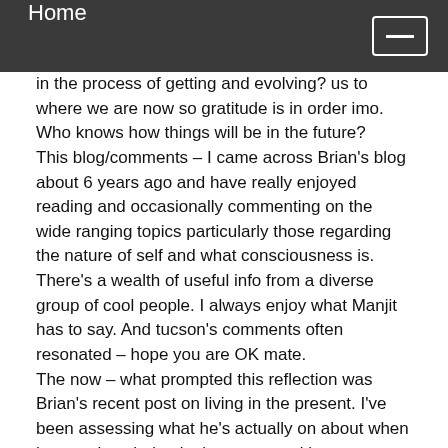Home
in the process of getting and evolving? us to where we are now so gratitude is in order imo. Who knows how things will be in the future?
This blog/comments – I came across Brian's blog about 6 years ago and have really enjoyed reading and occasionally commenting on the wide ranging topics particularly those regarding the nature of self and what consciousness is. There's a wealth of useful info from a diverse group of cool people. I always enjoy what Manjit has to say. And tucson's comments often resonated – hope you are OK mate.
The now – what prompted this reflection was Brian's recent post on living in the present. I've been assessing what he's actually on about when he mentions being in the present with our thoughts inside our head or present with our thoughts/perceptions of the outside. I think Brian is raising the issue of where consciousness lies. This is definitely one of the fundamental questions we come to this blog to get a handle on. As mentioned earlier re meditation – what happens/remains in the absence of